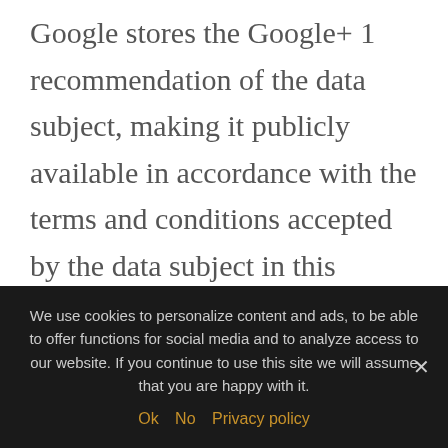Google stores the Google+ 1 recommendation of the data subject, making it publicly available in accordance with the terms and conditions accepted by the data subject in this regard. Subsequently, a Google+ 1 recommendation given by the data subject on this website together with other personal data, such as the Google+ account name used by the data subject and the stored photo, is stored and processed on other Google services, such as search-engine results of the
We use cookies to personalize content and ads, to be able to offer functions for social media and to analyze access to our website. If you continue to use this site we will assume that you are happy with it.
Ok  No  Privacy policy